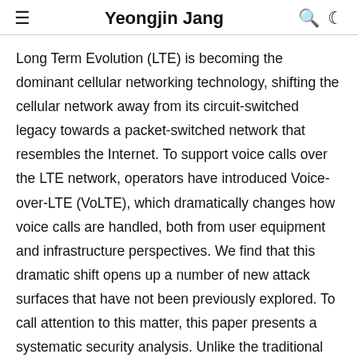Yeongjin Jang
Long Term Evolution (LTE) is becoming the dominant cellular networking technology, shifting the cellular network away from its circuit-switched legacy towards a packet-switched network that resembles the Internet. To support voice calls over the LTE network, operators have introduced Voice-over-LTE (VoLTE), which dramatically changes how voice calls are handled, both from user equipment and infrastructure perspectives. We find that this dramatic shift opens up a number of new attack surfaces that have not been previously explored. To call attention to this matter, this paper presents a systematic security analysis. Unlike the traditional call setup, the VoLTE call setup is controlled and performed at the Application Processor (AP), using the SIP over IP. A legitimate user who has control over the AP can